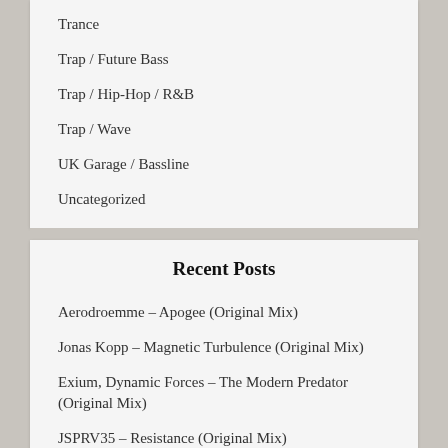Trance
Trap / Future Bass
Trap / Hip-Hop / R&B
Trap / Wave
UK Garage / Bassline
Uncategorized
Recent Posts
Aerodroemme – Apogee (Original Mix)
Jonas Kopp – Magnetic Turbulence (Original Mix)
Exium, Dynamic Forces – The Modern Predator (Original Mix)
JSPRV35 – Resistance (Original Mix)
Mikrotakt – Benefactor (Original Mix)